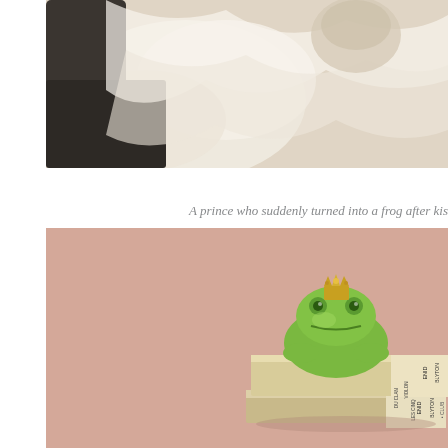[Figure (photo): Black and white photo showing a person in white clothing, partially cropped at top of page.]
A prince who suddenly turned into a frog after kis
[Figure (photo): Photo of a ceramic frog figurine wearing a gold crown, sitting on top of stacked vintage books (Enid Blyton 'Le Violon du Clan' and another Enid Blyton book), against a dusty rose/pink background.]